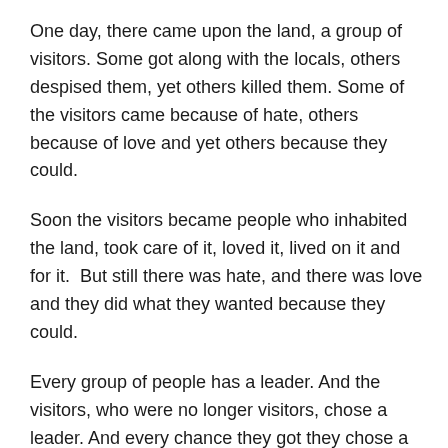One day, there came upon the land, a group of visitors. Some got along with the locals, others despised them, yet others killed them. Some of the visitors came because of hate, others because of love and yet others because they could.
Soon the visitors became people who inhabited the land, took care of it, loved it, lived on it and for it.  But still there was hate, and there was love and they did what they wanted because they could.
Every group of people has a leader. And the visitors, who were no longer visitors, chose a leader. And every chance they got they chose a new leader. Some leaders were good, some were bad, some help, some hurt. But still the people lived on.